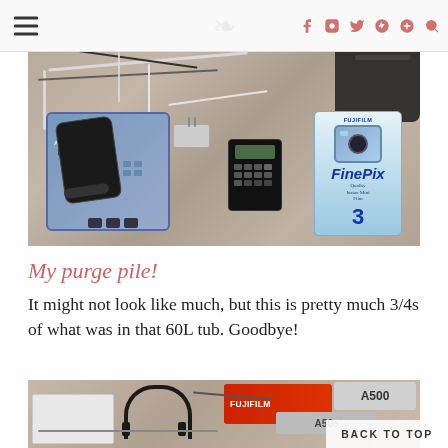Blog page header with hamburger menu and social icons (f, instagram, twitter, pinterest, g+, search)
[Figure (photo): Overhead view of a purge pile on carpet: cordless phone base with handset, various cables and chargers, a small calculator, a Fujifilm FinePix camera box (3-pack), and a black bag]
My purge pile!
It might not look like much, but this is pretty much 3/4s of what was in that 60L tub. Goodbye!
[Figure (photo): Partial view of another pile of electronics and items including a Fujifilm box, A500 labeled items, headphones, and various other electronics on a surface]
BACK TO TOP